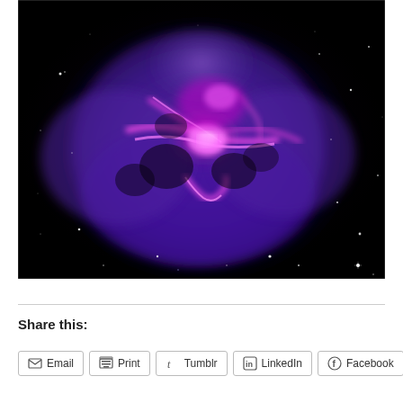[Figure (photo): Astronomical image of a nebula (likely the Crab Nebula) showing a glowing purple and pink cloud of gas and dust against a black starfield background. The nebula has a roughly oval shape with bright pink/magenta filaments in the center surrounded by diffuse purple/violet gas. Several faint stars are visible in the background.]
Share this:
Email
Print
Tumblr
LinkedIn
Facebook